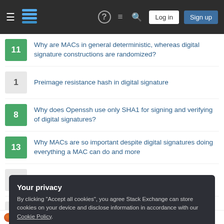Stack Exchange navigation bar with hamburger menu, logo, help, chat, search icons, Log in and Sign up buttons
11 — Why are MACs in general deterministic, whereas digital signature constructions are randomized?
1 — Preimage resistance hash in digital signature
8 — Why does Openssh use only SHA1 for signing and verifying of digital signatures?
13 — Why MACs are so important despite digital signatures doing everything a MAC can do and more
0 — How digital signatures work
2 — Hash function and Digital Encryption Algorithm
Your privacy
By clicking "Accept all cookies", you agree Stack Exchange can store cookies on your device and disclose information in accordance with our Cookie Policy.
Accept all cookies  Customize settings
Using multiple hashtags in NestList